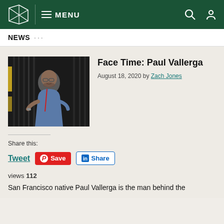MENU (navigation bar with logo)
NEWS ...
[Figure (photo): Man with glasses and beard standing among vertical metal rods/chains in a dark industrial setting, wearing a blue shirt and red lanyard]
Face Time: Paul Vallerga
August 18, 2020 by Zach Jones
Share this:
Tweet  Save  Share
views 112
San Francisco native Paul Vallerga is the man behind the